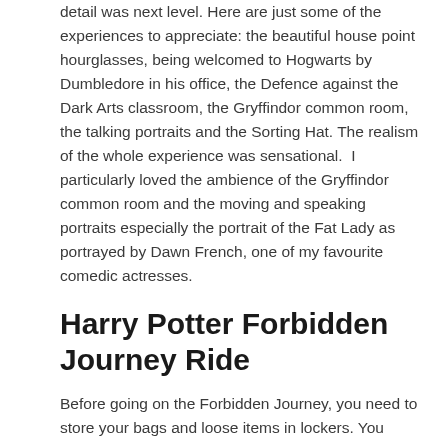detail was next level. Here are just some of the experiences to appreciate: the beautiful house point hourglasses, being welcomed to Hogwarts by Dumbledore in his office, the Defence against the Dark Arts classroom, the Gryffindor common room, the talking portraits and the Sorting Hat. The realism of the whole experience was sensational.  I particularly loved the ambience of the Gryffindor common room and the moving and speaking portraits especially the portrait of the Fat Lady as portrayed by Dawn French, one of my favourite comedic actresses.
Harry Potter Forbidden Journey Ride
Before going on the Forbidden Journey, you need to store your bags and loose items in lockers. You